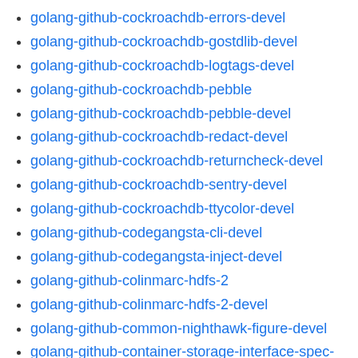golang-github-cockroachdb-errors-devel
golang-github-cockroachdb-gostdlib-devel
golang-github-cockroachdb-logtags-devel
golang-github-cockroachdb-pebble
golang-github-cockroachdb-pebble-devel
golang-github-cockroachdb-redact-devel
golang-github-cockroachdb-returncheck-devel
golang-github-cockroachdb-sentry-devel
golang-github-cockroachdb-ttycolor-devel
golang-github-codegangsta-cli-devel
golang-github-codegangsta-inject-devel
golang-github-colinmarc-hdfs-2
golang-github-colinmarc-hdfs-2-devel
golang-github-common-nighthawk-figure-devel
golang-github-container-storage-interface-spec-devel
golang-github-containerd-aufs-devel
golang-github-containerd-btrfs-devel
golang-github-containerd-cgroups-devel